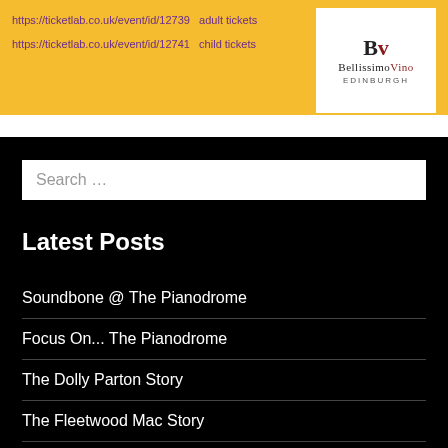https://ticketlab.co.uk/event/id/12739   adult tickets
https://ticketlab.co.uk/event/id/12741   child tickets
[Figure (logo): BellissimoVino Edinburgh logo — BV monogram with text]
Search …
Latest Posts
Soundbone @ The Pianodrome
Focus On... The Pianodrome
The Dolly Parton Story
The Fleetwood Mac Story